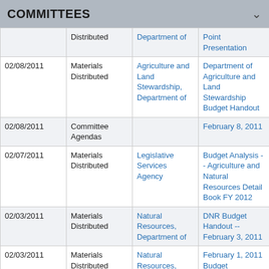COMMITTEES
| Date | Type | Source | Document |
| --- | --- | --- | --- |
|  | Distributed | Department of | Point Presentation |
| 02/08/2011 | Materials Distributed | Agriculture and Land Stewardship, Department of | Department of Agriculture and Land Stewardship Budget Handout |
| 02/08/2011 | Committee Agendas |  | February 8, 2011 |
| 02/07/2011 | Materials Distributed | Legislative Services Agency | Budget Analysis -- Agriculture and Natural Resources Detail Book FY 2012 |
| 02/03/2011 | Materials Distributed | Natural Resources, Department of | DNR Budget Handout -- February 3, 2011 |
| 02/03/2011 | Materials Distributed | Natural Resources, Department of | February 1, 2011 Budget Questions |
| 02/03/2011 | Committee Agendas |  | February 3, 2011 |
|  |  | Agriculture and | Agriculture and Natural |